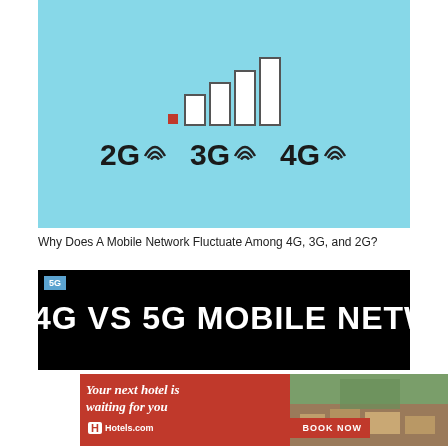[Figure (illustration): Light blue background showing mobile signal bars (4 rising bars with a red dot at bottom left) and three generation labels: 2G, 3G, 4G each with wifi-style arc icons]
Why Does A Mobile Network Fluctuate Among 4G, 3G, and 2G?
[Figure (screenshot): Dark background banner image showing text '4G VS 5G MOBILE NETWORK' in large white bold letters, with a small '5G' tag in blue top left corner]
[Figure (other): Hotels.com advertisement banner with red background, text 'Your next hotel is waiting for you' in italic white, hotel image on right, Hotels.com logo and BOOK NOW text at bottom]